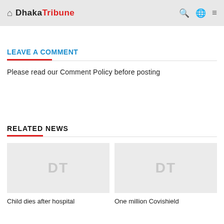Dhaka Tribune
LEAVE A COMMENT
Please read our Comment Policy before posting
RELATED NEWS
[Figure (photo): Placeholder image with DT watermark for article: Child dies after hospital]
Child dies after hospital
[Figure (photo): Placeholder image with DT watermark for article: One million Covishield]
One million Covishield